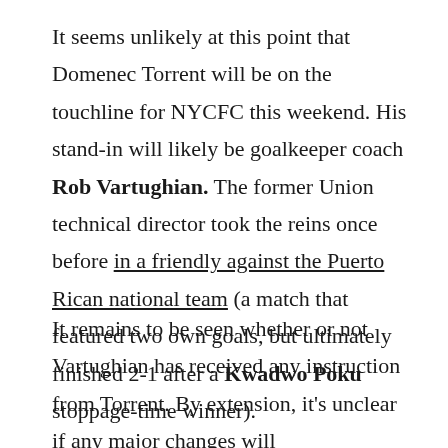It seems unlikely at this point that Domenec Torrent will be on the touchline for NYCFC this weekend. His stand-in will likely be goalkeeper coach Rob Vartughian. The former Union technical director took the reins once before in a friendly against the Puerto Rican national team (a match that featured two own goals, but ultimately finished 2-1 after a Kwadwo Poku stoppage-time winner).
It remains to be seen whether or not Vartughian has received any instruction from Torrent. By extension, it's unclear if any major changes will